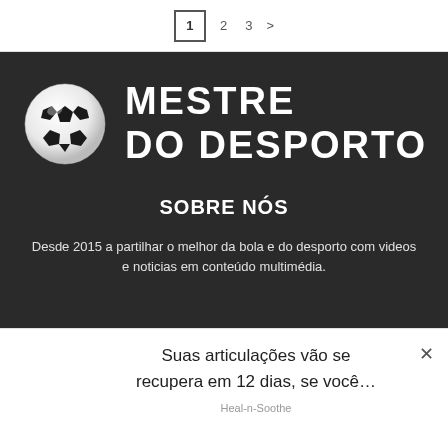1  2  3  >
[Figure (logo): Mestre do Desporto logo: soccer ball icon next to bold white text 'MESTRE DO DESPORTO' on dark background]
SOBRE NÓS
Desde 2015 a partilhar o melhor da bola e do desporto com videos e noticias em conteúdo multimédia.
Suas articulações vão se recupera em 12 dias, se você...
Heal-n-Soothe